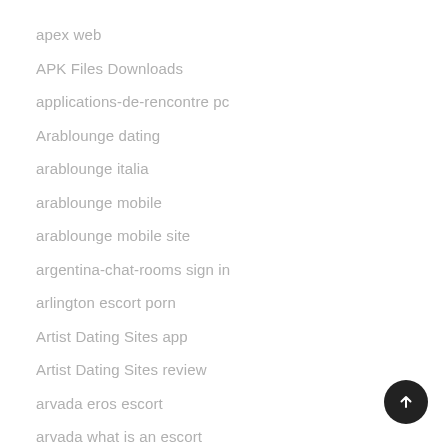apex web
APK Files Downloads
applications-de-rencontre pc
Arablounge dating
arablounge italia
arablounge mobile
arablounge mobile site
argentina-chat-rooms sign in
arlington escort porn
Artist Dating Sites app
Artist Dating Sites review
arvada eros escort
arvada what is an escort